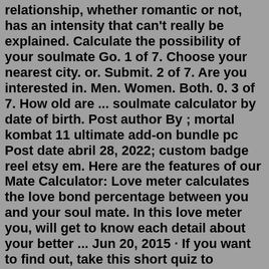relationship, whether romantic or not, has an intensity that can't really be explained. Calculate the possibility of your soulmate Go. 1 of 7. Choose your nearest city. or. Submit. 2 of 7. Are you interested in. Men. Women. Both. 0. 3 of 7. How old are ... soulmate calculator by date of birth. Post author By ; mortal kombat 11 ultimate add-on bundle pc Post date abril 28, 2022; custom badge reel etsy em. Here are the features of our Mate Calculator: Love meter calculates the love bond percentage between you and your soul mate. In this love meter you, will get to know each detail about your better ... Jun 20, 2015 · If you want to find out, take this short quiz to determine your K-Pop soulmate! Once you finish the quiz, share your result below. Good luck, Soompiers! lee1086 is a Soompi writer who lives for ... Mar 08, 2021 · The Buzzfeed community made a Seventeen soulmate quiz on October 7th, 2019. It was made by a user, Simply Seventeen. The quiz is so simple and seems fun. Try it! Find out your Seventeen soulmate here: BuzzFeed's Seventeen Soulmate Quiz. How are you ...